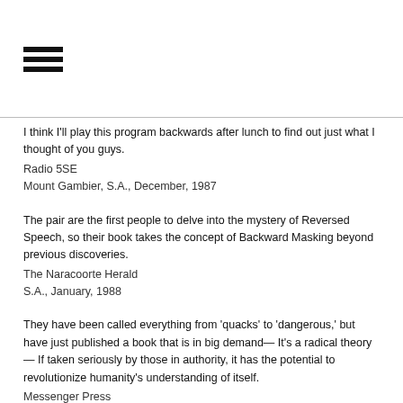[Figure (other): Hamburger menu icon with three horizontal bars]
I think I'll play this program backwards after lunch to find out just what I thought of you guys.
Radio 5SE
Mount Gambier, S.A., December, 1987
The pair are the first people to delve into the mystery of Reversed Speech, so their book takes the concept of Backward Masking beyond previous discoveries.
The Naracoorte Herald
S.A., January, 1988
They have been called everything from 'quacks' to 'dangerous,' but have just published a book that is in big demand— It's a radical theory— If taken seriously by those in authority, it has the potential to revolutionize humanity's understanding of itself.
Messenger Press
Adelaide, January 27, 1988